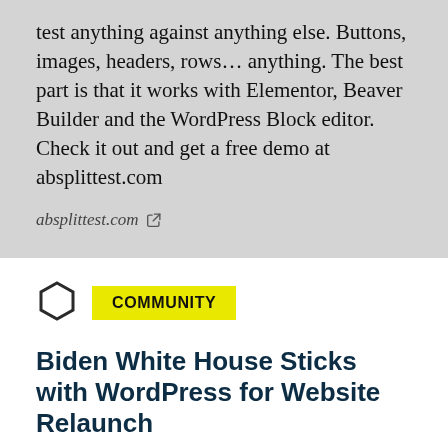test anything against anything else. Buttons, images, headers, rows… anything. The best part is that it works with Elementor, Beaver Builder and the WordPress Block editor. Check it out and get a free demo at absplittest.com
absplittest.com
[Figure (other): Hexagon outline icon used as a category marker]
COMMUNITY
Biden White House Sticks with WordPress for Website Relaunch
"President Joe Biden took office today and unveiled a new whitehouse.gov that has been relaunched on WordPress. The previous administration switched from Drupal to WordPress in 2017, and technologists working with the Biden administration